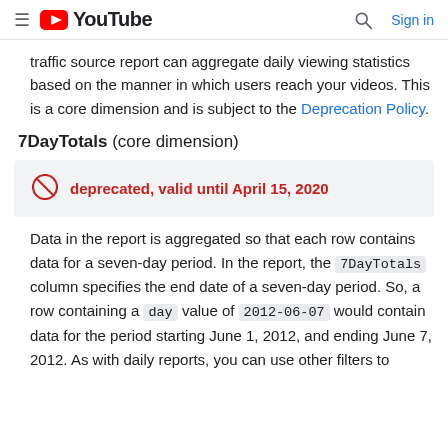≡  YouTube   🔍  Sign in
traffic source report can aggregate daily viewing statistics based on the manner in which users reach your videos. This is a core dimension and is subject to the Deprecation Policy.
7DayTotals (core dimension)
deprecated, valid until April 15, 2020
Data in the report is aggregated so that each row contains data for a seven-day period. In the report, the 7DayTotals column specifies the end date of a seven-day period. So, a row containing a day value of 2012-06-07 would contain data for the period starting June 1, 2012, and ending June 7, 2012. As with daily reports, you can use other filters to